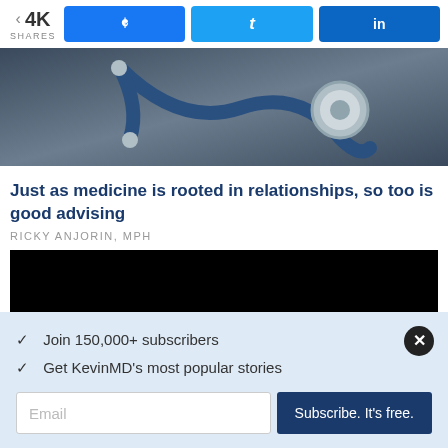< 4K SHARES   f   t   in
[Figure (photo): A stethoscope resting on a dark surface, close-up photograph]
Just as medicine is rooted in relationships, so too is good advising
RICKY ANJORIN, MPH
[Figure (other): Black rectangle, likely a video or advertisement block]
✓  Join 150,000+ subscribers
✓  Get KevinMD's most popular stories
Email   Subscribe. It's free.